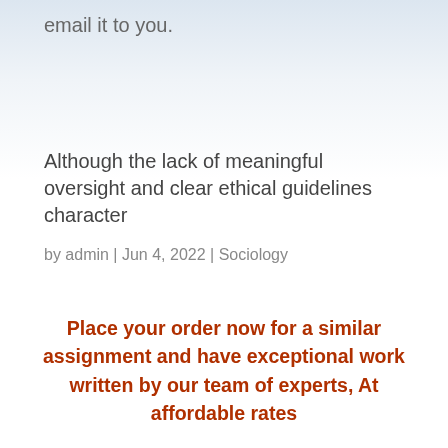email it to you.
Although the lack of meaningful oversight and clear ethical guidelines character
by admin | Jun 4, 2022 | Sociology
Place your order now for a similar assignment and have exceptional work written by our team of experts, At affordable rates